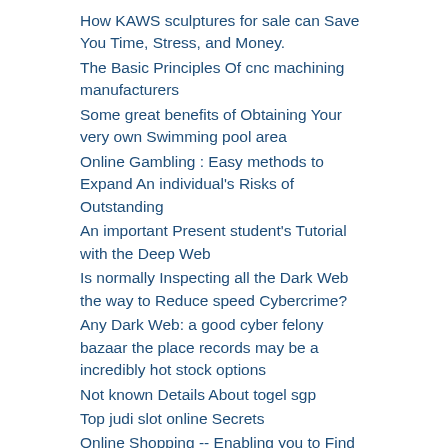How KAWS sculptures for sale can Save You Time, Stress, and Money.
The Basic Principles Of cnc machining manufacturers
Some great benefits of Obtaining Your very own Swimming pool area
Online Gambling : Easy methods to Expand An individual's Risks of Outstanding
An important Present student's Tutorial with the Deep Web
Is normally Inspecting all the Dark Web the way to Reduce speed Cybercrime?
Any Dark Web: a good cyber felony bazaar the place records may be a incredibly hot stock options
Not known Details About togel sgp
Top judi slot online Secrets
Online Shopping -- Enabling you to Find the best for a Family group not to mention One self!
Online Slots Procedures to help you to Be successful Sometimes